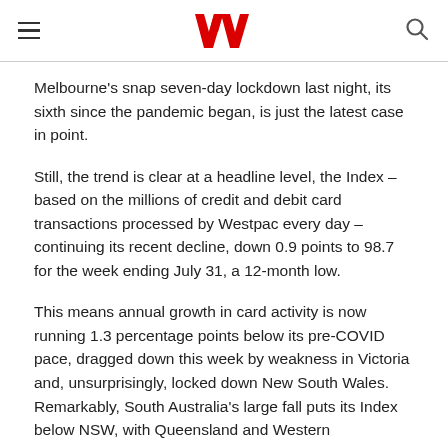Westpac logo, hamburger menu, search icon
Melbourne’s snap seven-day lockdown last night, its sixth since the pandemic began, is just the latest case in point.
Still, the trend is clear at a headline level, the Index – based on the millions of credit and debit card transactions processed by Westpac every day – continuing its recent decline, down 0.9 points to 98.7 for the week ending July 31, a 12-month low.
This means annual growth in card activity is now running 1.3 percentage points below its pre-COVID pace, dragged down this week by weakness in Victoria and, unsurprisingly, locked down New South Wales. Remarkably, South Australia’s large fall puts its Index below NSW, with Queensland and Western